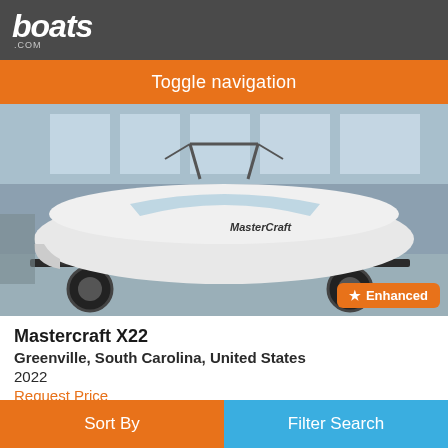boats.com
Toggle navigation
[Figure (photo): A white Mastercraft X22 boat on a trailer inside an indoor showroom. The boat has a wakeboard tower and is displayed on a black trailer. The showroom has large windows in the background. An 'Enhanced' badge in orange appears in the bottom-right corner of the image.]
Mastercraft X22
Greenville, South Carolina, United States
2022
Request Price
With available SurfStar, 3,550 pounds of ballast, room for 16, and a
Sort By    Filter Search